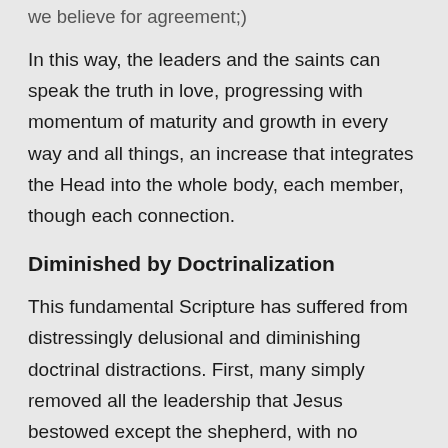we believe for agreement;)
In this way, the leaders and the saints can speak the truth in love, progressing with momentum of maturity and growth in every way and all things, an increase that integrates the Head into the whole body, each member, though each connection.
Diminished by Doctrinalization
This fundamental Scripture has suffered from distressingly delusional and diminishing doctrinal distractions. First, many simply removed all the leadership that Jesus bestowed except the shepherd, with no Biblical reason at all. Second, the term “equipping” suffered from comic efforts to make it fit scenarios of “church members” that strain the imagination. Third, “body life” schematics arose with